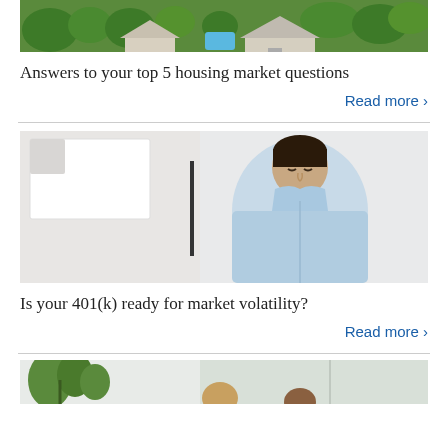[Figure (photo): Aerial view of houses with trees and a pool in a neighborhood]
Answers to your top 5 housing market questions
Read more >
[Figure (photo): Man in light blue shirt looking downward, in a bright white interior setting]
Is your 401(k) ready for market volatility?
Read more >
[Figure (photo): Partial view of people in a bright room with plants visible]